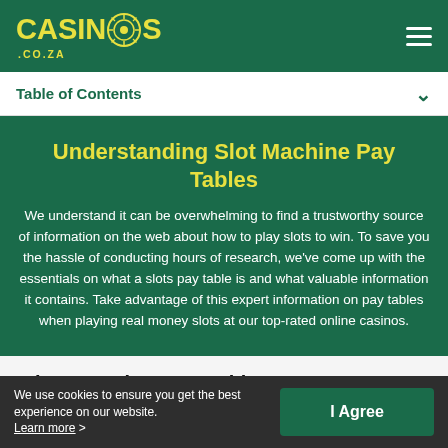CASINOS .CO.ZA
Table of Contents
Understanding Slot Machine Pay Tables
We understand it can be overwhelming to find a trustworthy source of information on the web about how to play slots to win. To save you the hassle of conducting hours of research, we've come up with the essentials on what a slots pay table is and what valuable information it contains. Take advantage of this expert information on pay tables when playing real money slots at our top-rated online casinos.
What Is A Slots Pay Table?
The purpose of a slots pay table is to provide you with all the
We use cookies to ensure you get the best experience on our website. Learn more >   I Agree